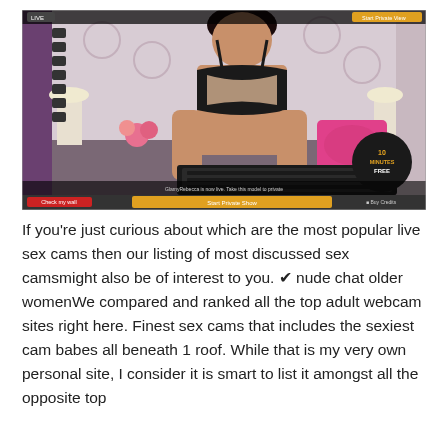[Figure (screenshot): Screenshot of a live cam website showing a woman in lingerie posing in front of a keyboard in a bedroom setting. The interface shows 'LIVE' indicator, a '10 MINUTES FREE' badge, a yellow 'Start Private Show' button at the bottom, and 'Buy Credits' option.]
If you're just curious about which are the most popular live sex cams then our listing of most discussed sex camsmight also be of interest to you. ✔ nude chat older womenWe compared and ranked all the top adult webcam sites right here. Finest sex cams that includes the sexiest cam babes all beneath 1 roof. While that is my very own personal site, I consider it is smart to list it amongst all the opposite top